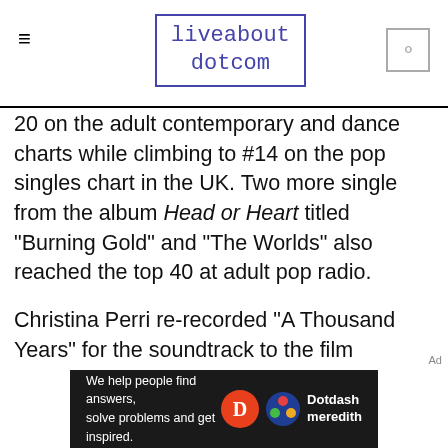liveabout dotcom
20 on the adult contemporary and dance charts while climbing to #14 on the pop singles chart in the UK. Two more single from the album Head or Heart titled "Burning Gold" and "The Worlds" also reached the top 40 at adult pop radio.
Christina Perri re-recorded "A Thousand Years" for the soundtrack to the film Twilight: Breaking Dawn Part 2. This time it features the vocals of Steve Kazee. He won a Tony Award in 2012 for Best Performance By a Leading Actor in a Musical. He starred in the Broadway production of Once. He also won a Grammy Award for Best Musical Theate
[Figure (other): Dotdash Meredith advertisement banner with text: We help people find answers, solve problems and get inspired.]